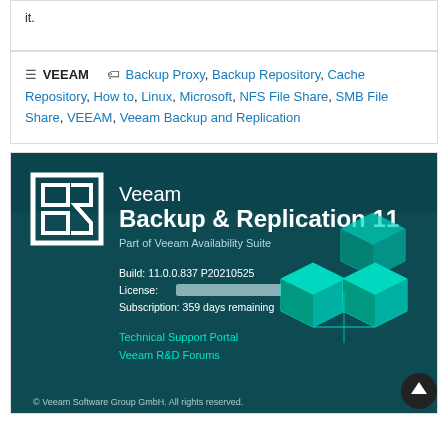it.
VEEAM   Backup Proxy, Backup Repository, Cache Repository, How to, Linux, Microsoft, NFS File Share, SMB File Share, VEEAM, Veeam Backup and Replication
[Figure (screenshot): Screenshot of Veeam Backup & Replication 11 about dialog showing: Part of Veeam Availability Suite, Build: 11.0.0.837 P20210525, License: [redacted], Subscription: 359 days remaining, Technical Support Portal, Veeam R&D Forums. Copyright Veeam Software Group GmbH. All rights reserved. Green 3D cube stack graphic on right side. Scroll-to-top button bottom right.]